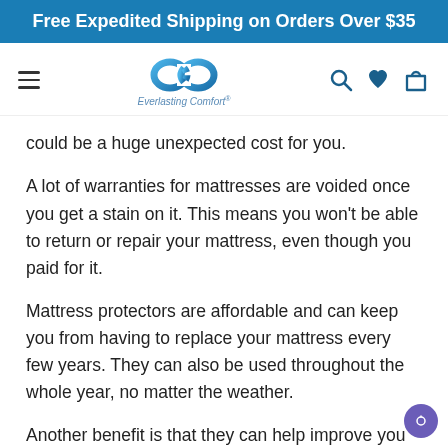Free Expedited Shipping on Orders Over $35
[Figure (logo): Everlasting Comfort infinity loop logo with navigation icons (hamburger menu, search, heart, bag)]
could be a huge unexpected cost for you.
A lot of warranties for mattresses are voided once you get a stain on it. This means you won't be able to return or repair your mattress, even though you paid for it.
Mattress protectors are affordable and can keep you from having to replace your mattress every few years. They can also be used throughout the whole year, no matter the weather.
Another benefit is that they can help improve you sleep quality. Best invest…